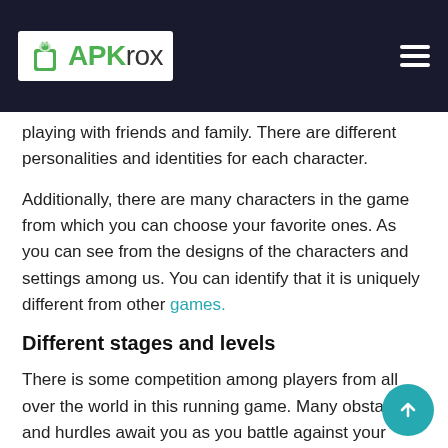APKrox
playing with friends and family. There are different personalities and identities for each character.
Additionally, there are many characters in the game from which you can choose your favorite ones. As you can see from the designs of the characters and settings among us. You can identify that it is uniquely different from other games.
Different stages and levels
There is some competition among players from all over the world in this running game. Many obstacles and hurdles await you as you battle against your opponents. The exciting aspect of this game is its many levels and stages.
As you progress through the game, you need to upgrade your character. There are no restrictions on where and when you can